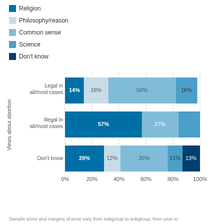[Figure (stacked-bar-chart): Views about abortion by moral guidance source]
Sample sizes and margins of error vary from subgroup to subgroup, from year to